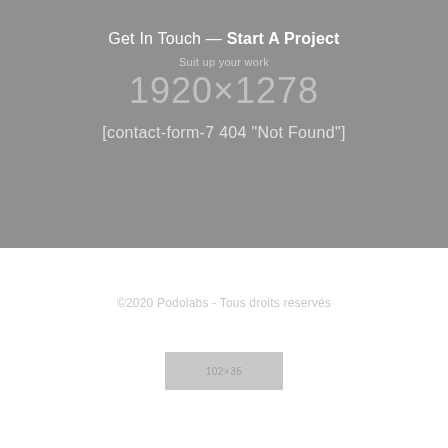Get In Touch — Start A Project
Suit up your work
1920×1278
[contact-form-7 404 "Not Found"]
©2020 Podolabs - Tous droits réservés
[Figure (other): Logo placeholder image 102×35 pixels]